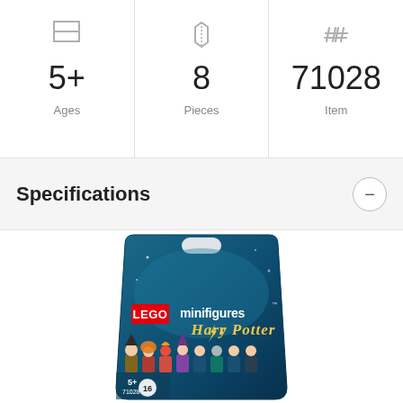[Figure (infographic): Three-column product stats panel showing: Ages 5+, Pieces 8, Item 71028, each with a small icon above]
Specifications
[Figure (photo): LEGO Minifigures Harry Potter series blind bag (item 71028), teal packaging with LEGO logo, 'minifigures' text, 'Harry Potter' stylized logo, '5+', '71028', '16' characters shown on front]